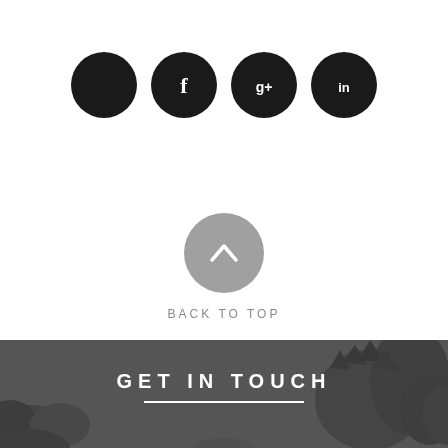[Figure (illustration): Four social media icon circles (Twitter, Facebook, Google+, LinkedIn) displayed as white icons on black circular backgrounds.]
[Figure (illustration): A gray circular button with an upward chevron arrow icon labeled BACK TO TOP below it.]
BACK TO TOP
[Figure (illustration): Dark gray banner section with a background image of trees/horses silhouettes. Contains the text GET IN TOUCH with a white horizontal line beneath it.]
GET IN TOUCH